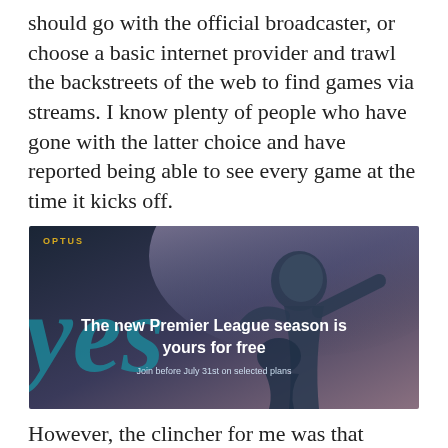should go with the official broadcaster, or choose a basic internet provider and trawl the backstreets of the web to find games via streams. I know plenty of people who have gone with the latter choice and have reported being able to see every game at the time it kicks off.
[Figure (photo): Optus advertisement showing a football player celebrating with text: 'The new Premier League season is yours for free. Join before July 31st on selected plans']
However, the clincher for me was that surely the official Optus service would be cleaner and...